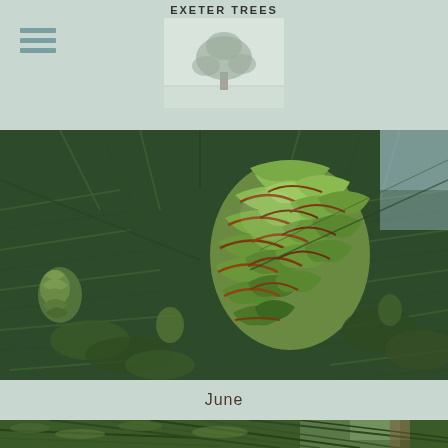EXETER TREES
[Figure (photo): Close-up photograph of a green conifer cone surrounded by dark green needled branches, with reddish-brown cone scales visible]
June
[Figure (photo): Partial photograph of pine or fir tree branches with green needles, partially visible at the bottom of the page]